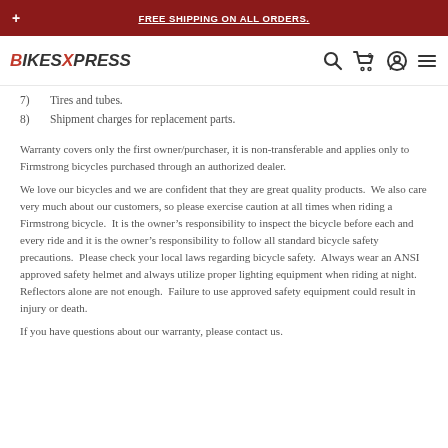FREE SHIPPING ON ALL ORDERS.
7)  Tires and tubes.
8)  Shipment charges for replacement parts.
Warranty covers only the first owner/purchaser, it is non-transferable and applies only to Firmstrong bicycles purchased through an authorized dealer.
We love our bicycles and we are confident that they are great quality products.  We also care very much about our customers, so please exercise caution at all times when riding a Firmstrong bicycle.  It is the owner’s responsibility to inspect the bicycle before each and every ride and it is the owner’s responsibility to follow all standard bicycle safety precautions.  Please check your local laws regarding bicycle safety.  Always wear an ANSI approved safety helmet and always utilize proper lighting equipment when riding at night.  Reflectors alone are not enough.  Failure to use approved safety equipment could result in injury or death.
If you have questions about our warranty, please contact us.